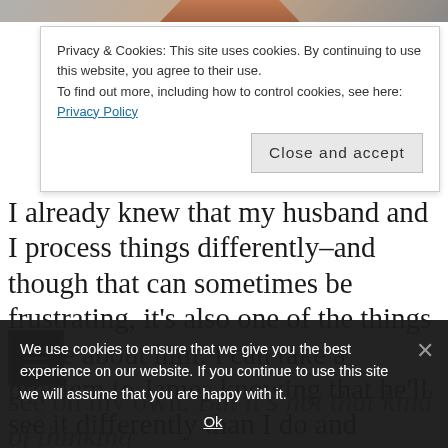[Figure (photo): Partial view of a person's torso/arm in dark clothing at the top of the page]
Privacy & Cookies: This site uses cookies. By continuing to use this website, you agree to their use.
To find out more, including how to control cookies, see here: Privacy Policy
Close and accept
I already knew that my husband and I process things differently–and though that can sometimes be frustrating, it's also one of the things I love about him. I can take a problem to James knowing that he'll see it differently than I do and possibly have a solution that I couldn't
see on my own. But it's not that kind of thinking
We use cookies to ensure that we give you the best experience on our website. If you continue to use this site we will assume that you are happy with it.
Ok